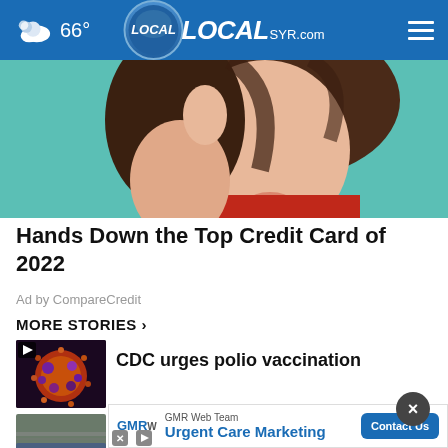66° LOCAL SYR.com
[Figure (photo): Young woman with hand raised near face, wearing red top, teal background — advertisement image for credit card offer]
Hands Down the Top Credit Card of 2022
Ad by CompareCredit
MORE STORIES ›
[Figure (photo): Thumbnail of poliovirus particle, orange and purple colors, with video play button overlay]
CDC urges polio vaccination
[Figure (photo): Aerial or road thumbnail image for I-69 slowdown story]
Temporary slowdown on I-69 ear
[Figure (photo): Thumbnail for NY-21 congressional story]
Meet the NY-21 congressional
[Figure (infographic): GMR Web Team advertisement banner with Contact Us button — Urgent Care Marketing]
GMR Web Team
Urgent Care Marketing
Contact Us